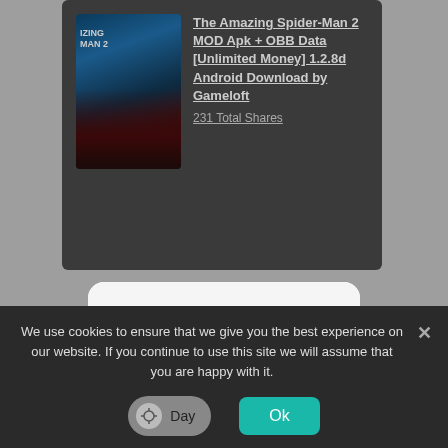The Amazing Spider-Man 2 MOD Apk + OBB Data [Unlimited Money] 1.2.8d Android Download by Gameloft
231 Total Shares
[Figure (screenshot): Modal dialog with text 'Click OK To Continue' and an OK button]
We use cookies to ensure that we give you the best experience on our website. If you continue to use this site we will assume that you are happy with it.